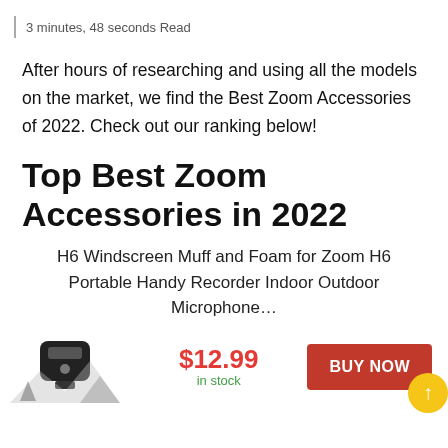| 3 minutes, 48 seconds Read
After hours of researching and using all the models on the market, we find the Best Zoom Accessories of 2022. Check out our ranking below!
Top Best Zoom Accessories in 2022
H6 Windscreen Muff and Foam for Zoom H6 Portable Handy Recorder Indoor Outdoor Microphone...
$12.99 in stock
BUY NOW